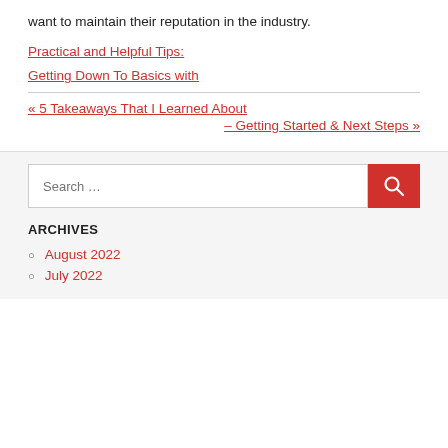want to maintain their reputation in the industry.
Practical and Helpful Tips:
Getting Down To Basics with
« 5 Takeaways That I Learned About
– Getting Started & Next Steps »
Search …
ARCHIVES
August 2022
July 2022